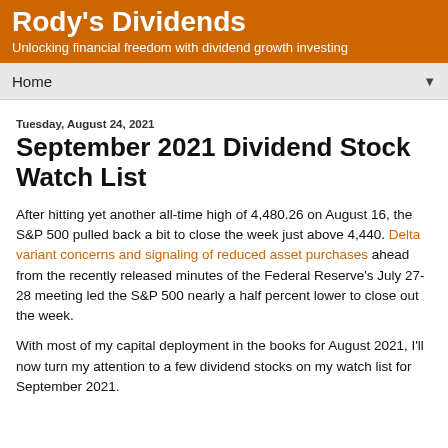Rody's Dividends
Unlocking financial freedom with dividend growth investing
Home
Tuesday, August 24, 2021
September 2021 Dividend Stock Watch List
After hitting yet another all-time high of 4,480.26 on August 16, the S&P 500 pulled back a bit to close the week just above 4,440. Delta variant concerns and signaling of reduced asset purchases ahead from the recently released minutes of the Federal Reserve's July 27-28 meeting led the S&P 500 nearly a half percent lower to close out the week.
With most of my capital deployment in the books for August 2021, I'll now turn my attention to a few dividend stocks on my watch list for September 2021.